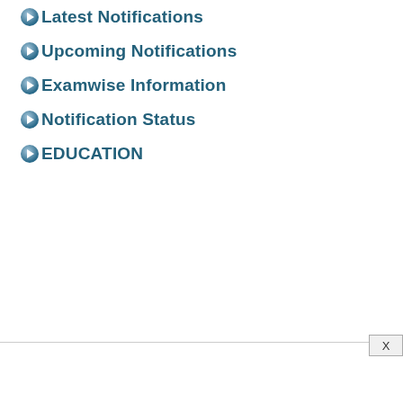Latest Notifications
Upcoming Notifications
Examwise Information
Notification Status
EDUCATION